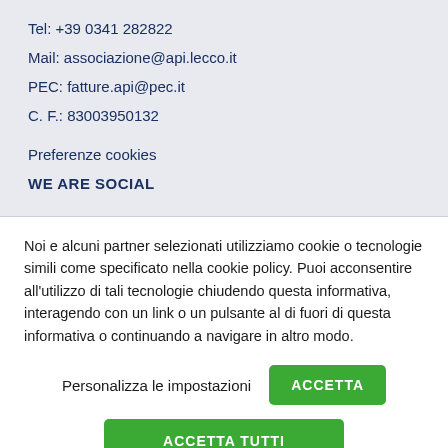Tel: +39 0341 282822
Mail: associazione@api.lecco.it
PEC: fatture.api@pec.it
C. F.: 83003950132
Preferenze cookies
WE ARE SOCIAL
Noi e alcuni partner selezionati utilizziamo cookie o tecnologie simili come specificato nella cookie policy. Puoi acconsentire all'utilizzo di tali tecnologie chiudendo questa informativa, interagendo con un link o un pulsante al di fuori di questa informativa o continuando a navigare in altro modo.
Personalizza le impostazioni
ACCETTA
ACCETTA TUTTI